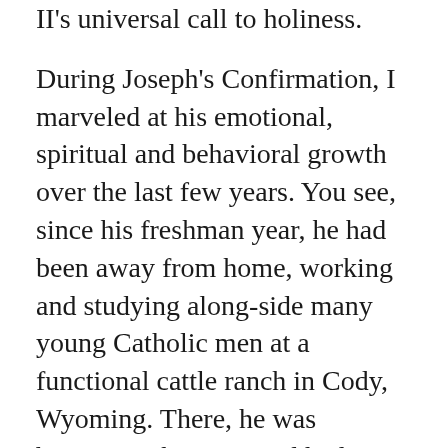II's universal call to holiness.
During Joseph's Confirmation, I marveled at his emotional, spiritual and behavioral growth over the last few years. You see, since his freshman year, he had been away from home, working and studying along-side many young Catholic men at a functional cattle ranch in Cody, Wyoming. There, he was becoming the man God had created him to be. The hard work, clean mountain air, daily rosaries, evening vespers, and self-paced home school curriculum proved the perfect answer for my son's many learning challenges and special needs. Although the decision to send